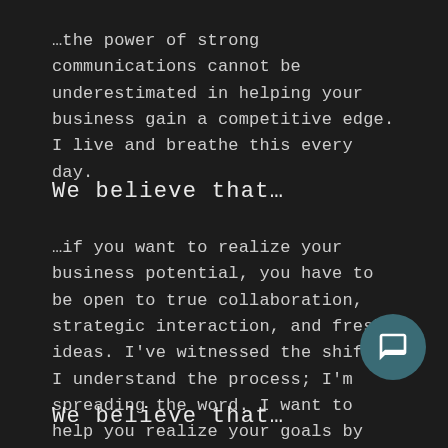…the power of strong communications cannot be underestimated in helping your business gain a competitive edge. I live and breathe this every day.
We believe that…
…if you want to realize your business potential, you have to be open to true collaboration, strategic interaction, and fresh ideas. I've witnessed the shift; I understand the process; I'm spreading the word. I want to help you realize your goals by turning them into successful results.
We believe that…